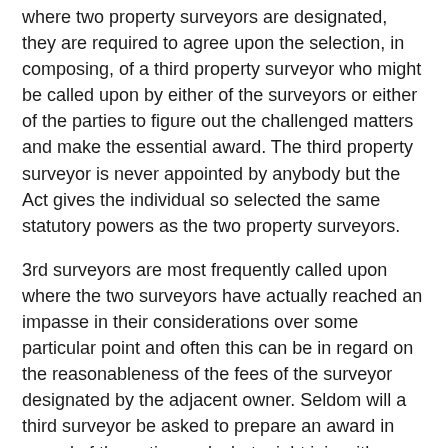Where two property surveyors are designated, they are required to agree upon the selection, in composing, of a third property surveyor who might be called upon by either of the surveyors or either of the parties to figure out the challenged matters and make the essential award. The third property surveyor is never appointed by anybody but the Act gives the individual so selected the same statutory powers as the two property surveyors.
3rd surveyors are most frequently called upon where the two surveyors have actually reached an impasse in their considerations over some particular point and often this can be in regard on the reasonableness of the fees of the surveyor designated by the adjacent owner. Seldom will a third surveyor be asked to prepare an award in regard of the entire works but might join with one or other of the two surveyors to do so if the requirement occurs.
There is no definition of who can be a surveyor, but it must not be the same person that will supervise the works.